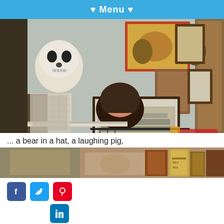♥ Menu ♥
[Figure (photo): Interior of a curiosity shop or antique store with a wall covered in taxidermy animals including a bear head with a red hat, a laughing pig, a skeleton figure, framed vintage photographs including a group military photo, mounted animal heads, carved wooden plaques, and various other eclectic antiques and collectibles hanging on the wall.]
... a bear in a hat, a laughing pig,
[Figure (photo): Close-up of antique books and collectibles in a glass display case, with old hardback books visible including one with gold lettering 'MO MA' on the spine.]
[Figure (infographic): Social media share buttons: Facebook (blue), Twitter (blue), Pinterest (red), LinkedIn (blue)]